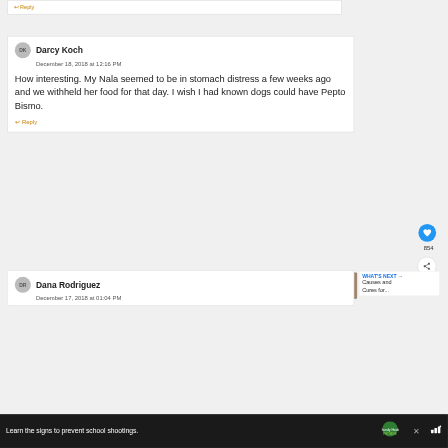↩ Reply
DK  Darcy Koch
December 18, 2018 at 12:16 PM

How interesting. My Nala seemed to be in stomach distress a few weeks ago and we withheld her food for that day. I wish I had known dogs could have Pepto Bismo.

↩ Reply
854
DR  Dana Rodriguez
December 17, 2018 at 01:04 PM
WHAT'S NEXT → Causes and Cures for...
Learn the signs to prevent school shootings.